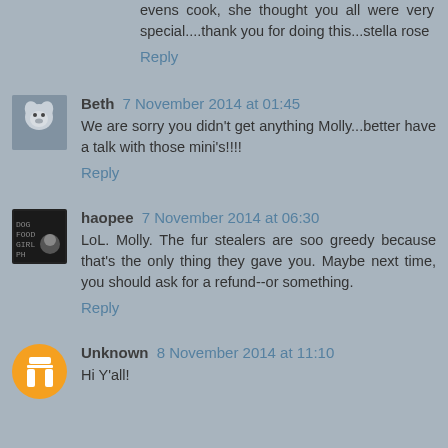evens cook, she thought you all were very special....thank you for doing this...stella rose
Reply
Beth 7 November 2014 at 01:45
We are sorry you didn't get anything Molly...better have a talk with those mini's!!!!
Reply
haopee 7 November 2014 at 06:30
LoL. Molly. The fur stealers are soo greedy because that's the only thing they gave you. Maybe next time, you should ask for a refund--or something.
Reply
Unknown 8 November 2014 at 11:10
Hi Y'all!